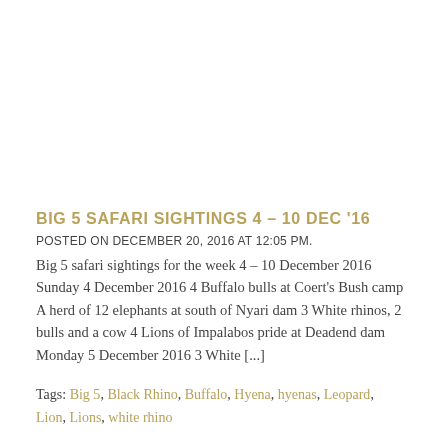BIG 5 SAFARI SIGHTINGS 4 – 10 DEC '16
POSTED ON DECEMBER 20, 2016 AT 12:05 PM.
Big 5 safari sightings for the week 4 – 10 December 2016 Sunday 4 December 2016 4 Buffalo bulls at Coert's Bush camp A herd of 12 elephants at south of Nyari dam 3 White rhinos, 2 bulls and a cow 4 Lions of Impalabos pride at Deadend dam Monday 5 December 2016 3 White [...]
Tags: Big 5, Black Rhino, Buffalo, Hyena, hyenas, Leopard, Lion, Lions, white rhino